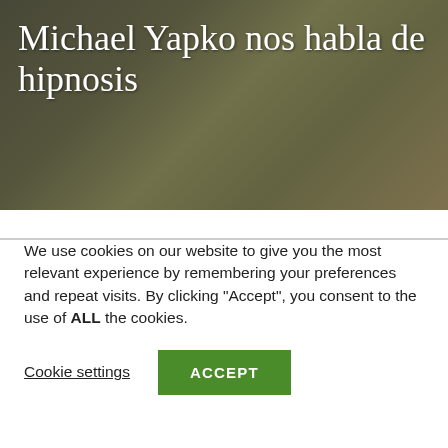[Figure (photo): Hero image with people in background, overlaid with article title text on dark background]
Michael Yapko nos habla de hipnosis
We use cookies on our website to give you the most relevant experience by remembering your preferences and repeat visits. By clicking “Accept”, you consent to the use of ALL the cookies.
Cookie settings | ACCEPT